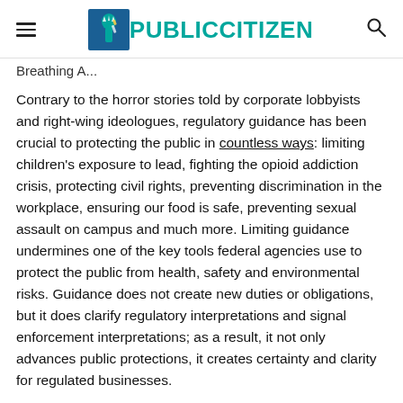PUBLIC CITIZEN
Breathing A...
Contrary to the horror stories told by corporate lobbyists and right-wing ideologues, regulatory guidance has been crucial to protecting the public in countless ways: limiting children’s exposure to lead, fighting the opioid addiction crisis, protecting civil rights, preventing discrimination in the workplace, ensuring our food is safe, preventing sexual assault on campus and much more. Limiting guidance undermines one of the key tools federal agencies use to protect the public from health, safety and environmental risks. Guidance does not create new duties or obligations, but it does clarify regulatory interpretations and signal enforcement interpretations; as a result, it not only advances public protections, it creates certainty and clarity for regulated businesses.